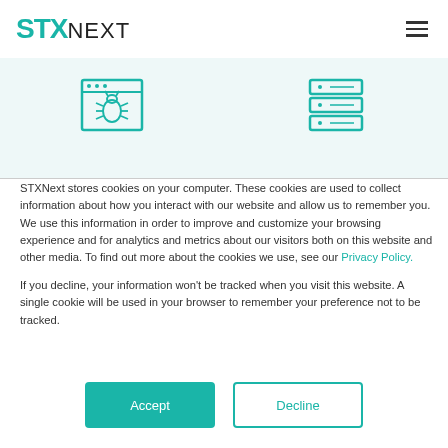[Figure (logo): STXNext logo with teal STX and dark NEXT text]
[Figure (illustration): Two teal icons: a browser window with a bug, and a server/database stack]
STXNext stores cookies on your computer. These cookies are used to collect information about how you interact with our website and allow us to remember you. We use this information in order to improve and customize your browsing experience and for analytics and metrics about our visitors both on this website and other media. To find out more about the cookies we use, see our Privacy Policy.
If you decline, your information won't be tracked when you visit this website. A single cookie will be used in your browser to remember your preference not to be tracked.
[Figure (other): Accept and Decline buttons]